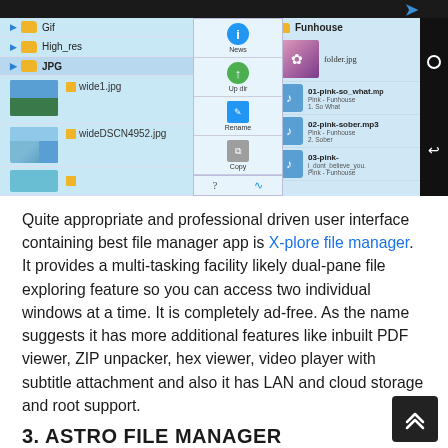[Figure (screenshot): Screenshot of X-plore file manager Android app showing dual-pane view with file browser on left showing Gif, High_res, JPG folders and image files (wide1.jpg 3838x2932, wideDSCN4952.jpg 2048x1152), a context menu in the middle with options (News, Up dir, Rename, Copy, Copy to clipboard, Create ZIP, Delete, New folder), and right pane showing Funhouse folder with music files (01-pink-so_what.mp3, 02-pink-sober.mp3, 03-pink-i_dont_believe_you)]
Quite appropriate and professional driven user interface containing best file manager app is X-plore file manager. It provides a multi-tasking facility likely dual-pane file exploring feature so you can access two individual windows at a time. It is completely ad-free. As the name suggests it has more additional features like inbuilt PDF viewer, ZIP unpacker, hex viewer, video player with subtitle attachment and also it has LAN and cloud storage and root support.
3. ASTRO FILE MANAGER